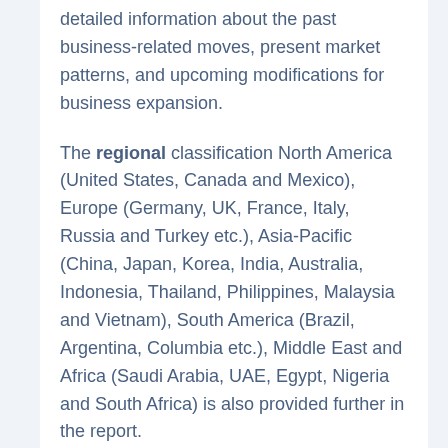detailed information about the past business-related moves, present market patterns, and upcoming modifications for business expansion.
The regional classification North America (United States, Canada and Mexico), Europe (Germany, UK, France, Italy, Russia and Turkey etc.), Asia-Pacific (China, Japan, Korea, India, Australia, Indonesia, Thailand, Philippines, Malaysia and Vietnam), South America (Brazil, Argentina, Columbia etc.), Middle East and Africa (Saudi Arabia, UAE, Egypt, Nigeria and South Africa) is also provided further in the report.
The report provides a huge bunch of